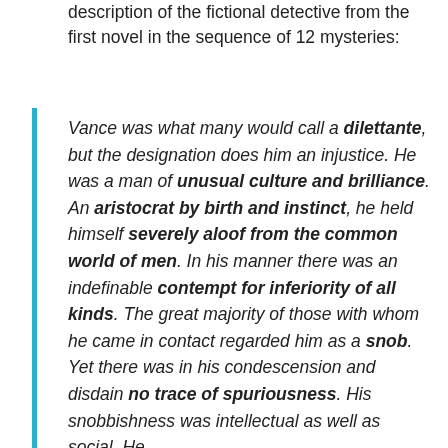description of the fictional detective from the first novel in the sequence of 12 mysteries:
Vance was what many would call a dilettante, but the designation does him an injustice. He was a man of unusual culture and brilliance. An aristocrat by birth and instinct, he held himself severely aloof from the common world of men. In his manner there was an indefinable contempt for inferiority of all kinds. The great majority of those with whom he came in contact regarded him as a snob. Yet there was in his condescension and disdain no trace of spuriousness. His snobbishness was intellectual as well as social. He